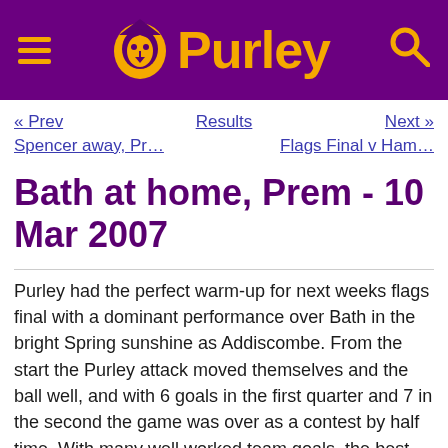Purley
« Prev   Results   Next »
Spencer away, Pr…   Flags Final v Ham…
Bath at home, Prem - 10 Mar 2007
Purley had the perfect warm-up for next weeks flags final with a dominant performance over Bath in the bright Spring sunshine as Addiscombe. From the start the Purley attack moved themselves and the ball well, and with 6 goals in the first quarter and 7 in the second the game was over as a contest by half time. With many well worked team goals, the best was probably a fast break from the face-off where all 6 offensive players touched the ball. Luke Smith won the face, pulled it back to Ian Nesbitt who picked up the ground